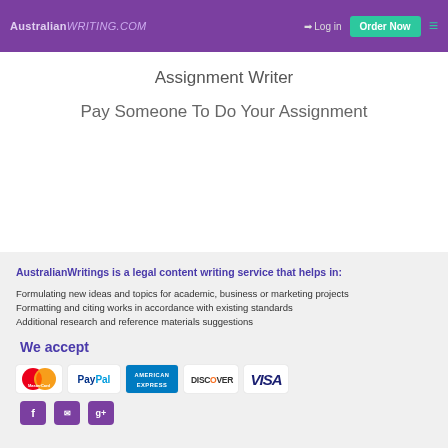AustralianWRITING.COM | Log in | Order Now
Assignment Writer
Pay Someone To Do Your Assignment
AustralianWritings is a legal content writing service that helps in:
Formulating new ideas and topics for academic, business or marketing projects
Formatting and citing works in accordance with existing standards
Additional research and reference materials suggestions
We accept
[Figure (logo): Payment method logos: MasterCard, PayPal, American Express, Discover, VISA]
[Figure (logo): Social media icons: Facebook, another icon, Google+]